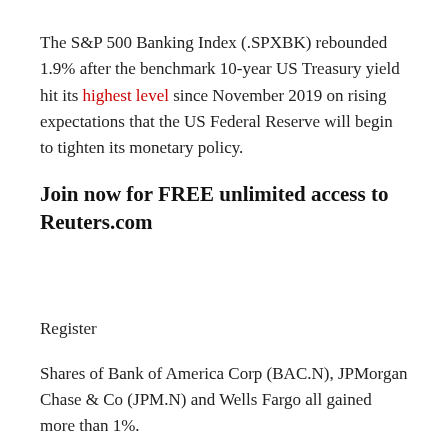The S&P 500 Banking Index (.SPXBK) rebounded 1.9% after the benchmark 10-year US Treasury yield hit its highest level since November 2019 on rising expectations that the US Federal Reserve will begin to tighten its monetary policy.
Join now for FREE unlimited access to Reuters.com
Register
Shares of Bank of America Corp (BAC.N), JPMorgan Chase & Co (JPM.N) and Wells Fargo all gained more than 1%.
The S&P 500 energy sector index (.SPNY) fell 2.1% as investors feared that the resumption of indirect talks between the United States and Iran could revive an international nuclear agreement and allow more oil exports from the OPEC producer. Read more